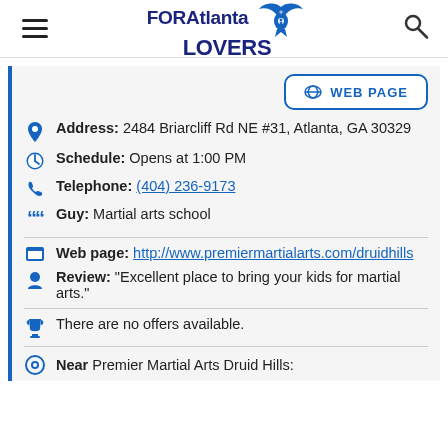FORAtlanta LOVERS
WEB PAGE
Address: 2484 Briarcliff Rd NE #31, Atlanta, GA 30329
Schedule: Opens at 1:00 PM
Telephone: (404) 236-9173
Guy: Martial arts school
Web page: http://www.premiermartialarts.com/druidhills
Review: "Excellent place to bring your kids for martial arts."
There are no offers available.
Near Premier Martial Arts Druid Hills: